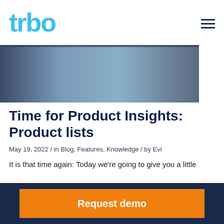[Figure (logo): trbo logo in light blue stylized text]
[Figure (photo): Hero banner image showing a dark blue/gray photographic strip]
Time for Product Insights: Product lists
May 19, 2022 / in Blog, Features, Knowledge / by Evi
It is that time again: Today we’re going to give you a little
Request demo